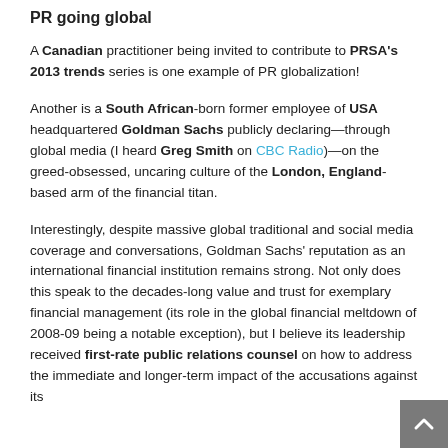PR going global
A Canadian practitioner being invited to contribute to PRSA's 2013 trends series is one example of PR globalization!
Another is a South African-born former employee of USA headquartered Goldman Sachs publicly declaring—through global media (I heard Greg Smith on CBC Radio)—on the greed-obsessed, uncaring culture of the London, England-based arm of the financial titan.
Interestingly, despite massive global traditional and social media coverage and conversations, Goldman Sachs' reputation as an international financial institution remains strong. Not only does this speak to the decades-long value and trust for exemplary financial management (its role in the global financial meltdown of 2008-09 being a notable exception), but I believe its leadership received first-rate public relations counsel on how to address the immediate and longer-term impact of the accusations against its